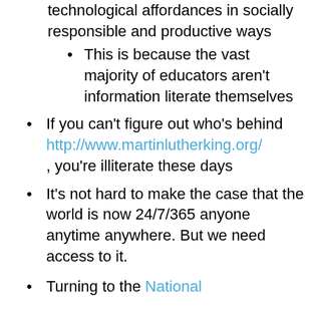technological affordances in socially responsible and productive ways
This is because the vast majority of educators aren't information literate themselves
If you can't figure out who's behind http://www.martinlutherking.org/ , you're illiterate these days
It's not hard to make the case that the world is now 24/7/365 anyone anytime anywhere. But we need access to it.
Turning to the National